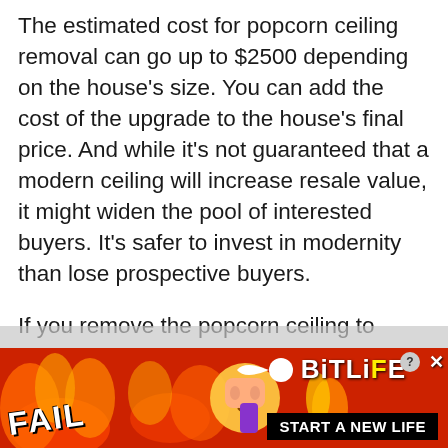The estimated cost for popcorn ceiling removal can go up to $2500 depending on the house's size. You can add the cost of the upgrade to the house's final price. And while it's not guaranteed that a modern ceiling will increase resale value, it might widen the pool of interested buyers. It's safer to invest in modernity than lose prospective buyers.
If you remove the popcorn ceiling to improve the home's resale value, it becomes easier to pitch the house to potential buyers. A cleaner and higher ceiling and brighter light disbursement are all factors that could put you at a vantage
[Figure (photo): Advertisement banner for BitLife game. Red/orange fire background with 'FAIL' text on the left, cartoon emoji characters, flame graphics, a sperm cell icon, 'BitLife' logo in white on the right, and a black banner reading 'START A NEW LIFE'. Close/help buttons in top right corner.]